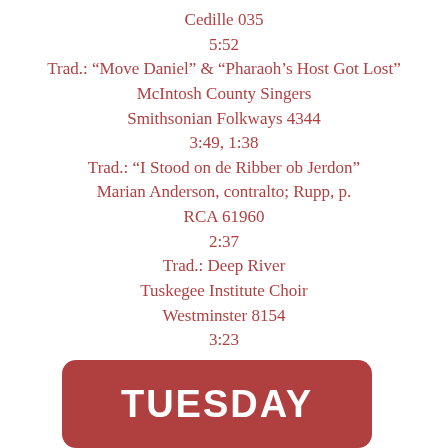Cedille 035
5:52
Trad.: “Move Daniel” & “Pharaoh’s Host Got Lost”
McIntosh County Singers
Smithsonian Folkways 4344
3:49, 1:38
Trad.: “I Stood on de Ribber ob Jerdon”
Marian Anderson, contralto; Rupp, p.
RCA 61960
2:37
Trad.: Deep River
Tuskegee Institute Choir
Westminster 8154
3:23
x
[Figure (other): Red rounded rectangle button with white bold text reading TUESDAY]